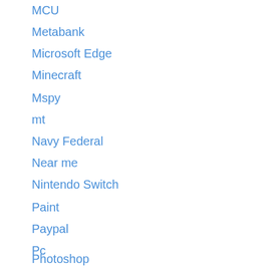MCU
Metabank
Microsoft Edge
Minecraft
Mspy
mt
Navy Federal
Near me
Nintendo Switch
Paint
Paypal
Pc
Photoshop